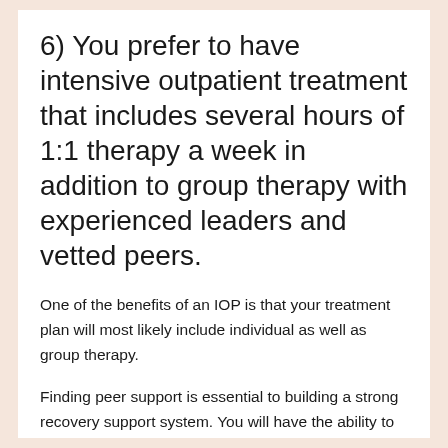6) You prefer to have intensive outpatient treatment that includes several hours of 1:1 therapy a week in addition to group therapy with experienced leaders and vetted peers.
One of the benefits of an IOP is that your treatment plan will most likely include individual as well as group therapy.
Finding peer support is essential to building a strong recovery support system. You will have the ability to gain mutual support from peers without feelings of judgment or criticism that you might feel in other situations. Group therapy encourages a sense of belonging, and